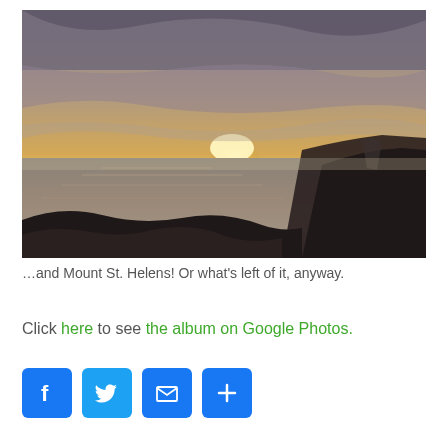[Figure (photo): Coastal sunset landscape photograph showing rocky shoreline in the foreground, calm water reflecting golden sunset light, with dark clouds and a bright sun partially hidden behind the clouds on the horizon. A pier or jetty is visible on the right side.]
…and Mount St. Helens! Or what's left of it, anyway.
Click here to see the album on Google Photos.
[Figure (infographic): Row of four social media sharing buttons: Facebook (f), Twitter (bird), Email (envelope), and More/Add (+), all with blue rounded square backgrounds.]